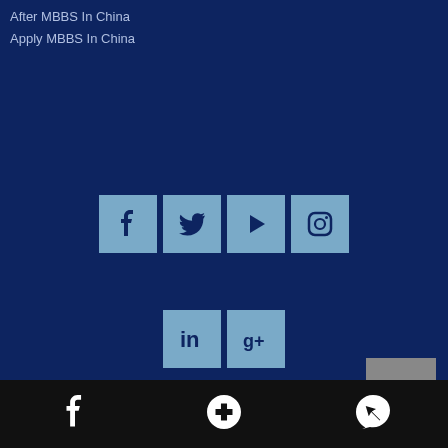After MBBS In China
Apply MBBS In China
[Figure (infographic): Social media icons row 1: Facebook, Twitter, YouTube, Instagram - light blue square buttons on dark blue background]
[Figure (infographic): Social media icons row 2: LinkedIn, Google+ - light blue square buttons on dark blue background]
Address: 11-South Diamond Road, Hebei North University in District, Zhangjiakou City
Link: www.acasc.cn
Website: www.hebeinorthuniversity.cn
Tel: +86 15850513534